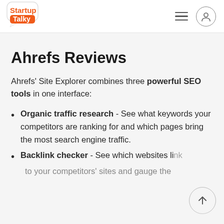[Figure (logo): StartupTalky logo — speech bubble shape with 'Startup' in orange text above and 'Talky' on an orange rounded rectangle below]
Ahrefs Reviews
Ahrefs' Site Explorer combines three powerful SEO tools in one interface:
Organic traffic research - See what keywords your competitors are ranking for and which pages bring the most search engine traffic.
Backlink checker - See which websites link to your competitors' sites and gauge the